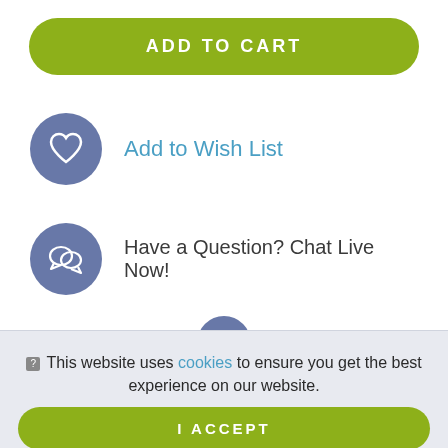ADD TO CART
Add to Wish List
Have a Question? Chat Live Now!
This website uses cookies to ensure you get the best experience on our website.
I ACCEPT
LEARN MORE